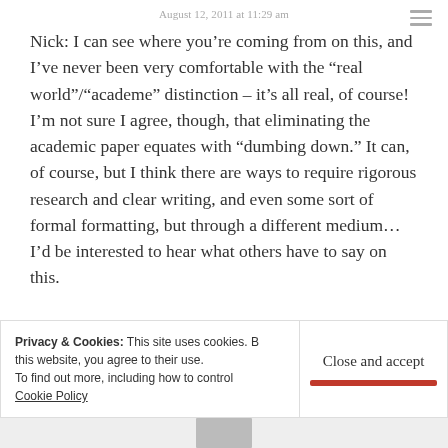August 12, 2011 at 11:29 am
Nick: I can see where you’re coming from on this, and I’ve never been very comfortable with the “real world”/“academe” distinction – it’s all real, of course! I’m not sure I agree, though, that eliminating the academic paper equates with “dumbing down.” It can, of course, but I think there are ways to require rigorous research and clear writing, and even some sort of formal formatting, but through a different medium…I’d be interested to hear what others have to say on this.
Privacy & Cookies: This site uses cookies. By continuing to use this website, you agree to their use. To find out more, including how to control cookies, see here: Cookie Policy
Close and accept